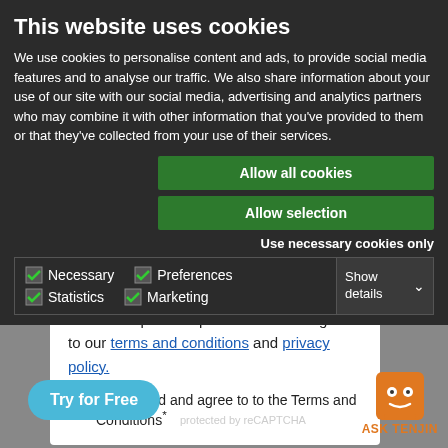This website uses cookies
We use cookies to personalise content and ads, to provide social media features and to analyse our traffic. We also share information about your use of our site with our social media, advertising and analytics partners who may combine it with other information that you've provided to them or that they've collected from your use of their services.
Allow all cookies
Allow selection
Use necessary cookies only
Necessary  Preferences  Statistics  Marketing  Show details
In order to proceed please read and agree to our terms and conditions and privacy policy.
I have read and agree to to the Terms and Conditions*
Try for Free
protected by reCAPTCHA
ASK TENJIN